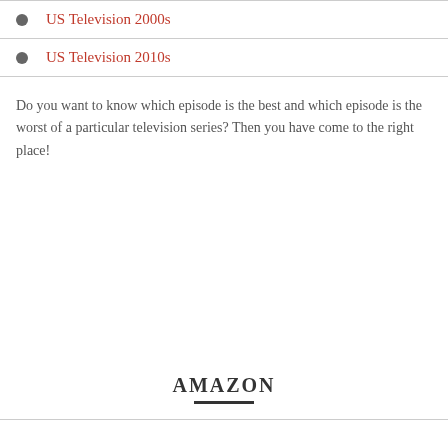US Television 2000s
US Television 2010s
Do you want to know which episode is the best and which episode is the worst of a particular television series? Then you have come to the right place!
AMAZON